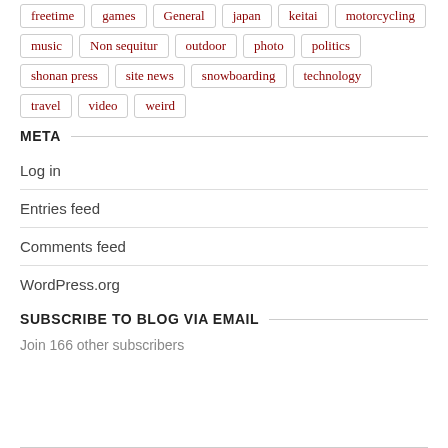freetime
games
General
japan
keitai
motorcycling
music
Non sequitur
outdoor
photo
politics
shonan press
site news
snowboarding
technology
travel
video
weird
META
Log in
Entries feed
Comments feed
WordPress.org
SUBSCRIBE TO BLOG VIA EMAIL
Join 166 other subscribers